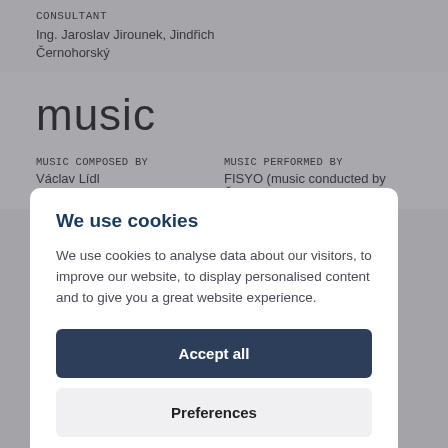CONSULTANT
Ing. Jaroslav Jirounek, Jindřich Černohorský
music
MUSIC COMPOSED BY
Václav Lídl
MUSIC PERFORMED BY
FISYO (music conducted by Štěpán
We use cookies
We use cookies to analyse data about our visitors, to improve our website, to display personalised content and to give you a great website experience.
Accept all
Preferences